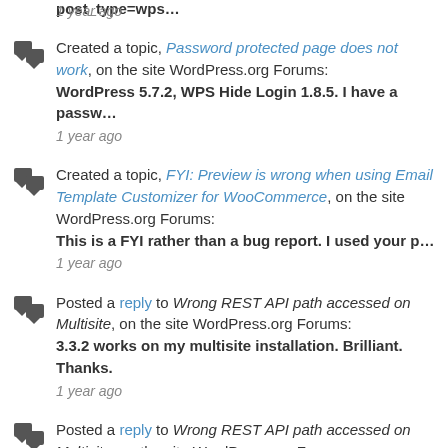post_type=wps…
1 year ago
Created a topic, Password protected page does not work, on the site WordPress.org Forums:
WordPress 5.7.2, WPS Hide Login 1.8.5. I have a passw…
1 year ago
Created a topic, FYI: Preview is wrong when using Email Template Customizer for WooCommerce, on the site WordPress.org Forums:
This is a FYI rather than a bug report. I used your p…
1 year ago
Posted a reply to Wrong REST API path accessed on Multisite, on the site WordPress.org Forums:
3.3.2 works on my multisite installation. Brilliant. Thanks.
1 year ago
Posted a reply to Wrong REST API path accessed on Multisite, on the site WordPress.org Forums:
It didn't work because of too many slashes in the REST url. I got a…
1 year ago